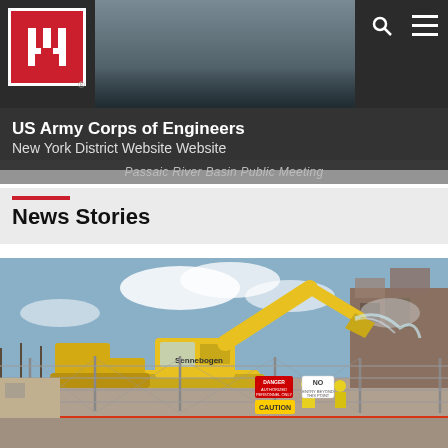US Army Corps of Engineers New York District Website Website
Passaic River Basin Public Meeting
News Stories
[Figure (photo): Construction site photo showing a yellow excavator (Sennebogen brand) demolishing a structure behind a chain-link fence. Workers in yellow safety gear visible. Red caution tape and warning signs in foreground. Blue sky with light clouds.]